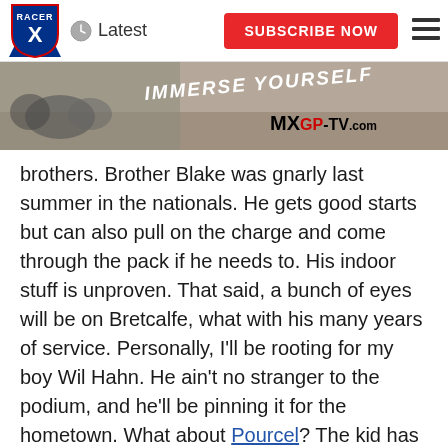Latest | SUBSCRIBE NOW
[Figure (photo): MXGP-TV.com banner with motocross riders, text IMMERSE YOURSELF]
brothers. Brother Blake was gnarly last summer in the nationals. He gets good starts but can also pull on the charge and come through the pack if he needs to. His indoor stuff is unproven. That said, a bunch of eyes will be on Bretcalfe, what with his many years of service. Personally, I'll be rooting for my boy Wil Hahn. He ain't no stranger to the podium, and he'll be pinning it for the hometown. What about Pourcel? The kid has Bayle-esque skills and I can only scratch my chin as to how he has rebounded from his big bail. Whoa, I think I just ... never mind.
Supercross